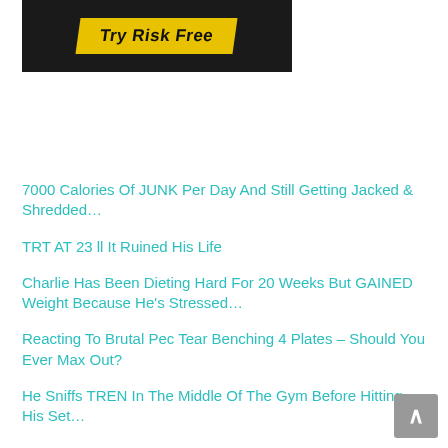[Figure (photo): Advertisement banner with 'Try Risk Free' text on a yellow/gold angled ribbon over a dark background with a person partially visible]
7000 Calories Of JUNK Per Day And Still Getting Jacked & Shredded…
TRT AT 23 ll It Ruined His Life
Charlie Has Been Dieting Hard For 20 Weeks But GAINED Weight Because He's Stressed…
Reacting To Brutal Pec Tear Benching 4 Plates – Should You Ever Max Out?
He Sniffs TREN In The Middle Of The Gym Before Hitting His Set…